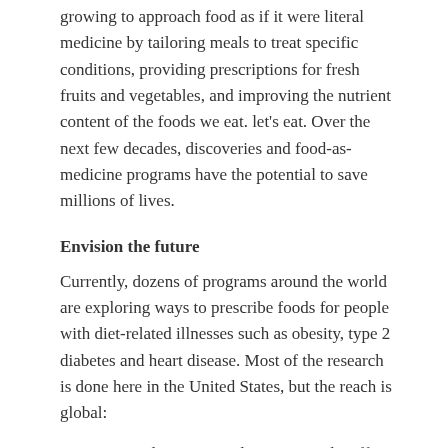growing to approach food as if it were literal medicine by tailoring meals to treat specific conditions, providing prescriptions for fresh fruits and vegetables, and improving the nutrient content of the foods we eat. let's eat. Over the next few decades, discoveries and food-as-medicine programs have the potential to save millions of lives.
Envision the future
Currently, dozens of programs around the world are exploring ways to prescribe foods for people with diet-related illnesses such as obesity, type 2 diabetes and heart disease. Most of the research is done here in the United States, but the reach is global:
In Canada, a new study examines the effects of dietary prescriptions on people with both food insecurity and high blood sugar.
(partial, cut off at bottom)